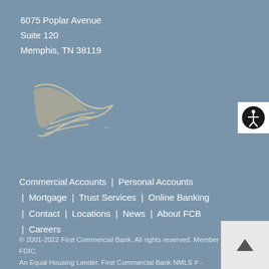6075 Poplar Avenue
Suite 120
Memphis, TN 38119
[Figure (logo): First Commercial Bank logo: stylized bird/wing shape with horizontal sweep lines, with TM mark]
[Figure (other): Accessibility icon: white circle with person figure inside black circle]
Commercial Accounts  |  Personal Accounts  |  Mortgage  |  Trust Services  |  Online Banking  |  Contact  |  Locations  |  News  |  About FCB  |  Careers
© 2001-2022 First Commercial Bank. All rights reserved. Member FDIC. An Equal Housing Lender. First Commercial Bank NMLS # - 502543.  Privacy Policy